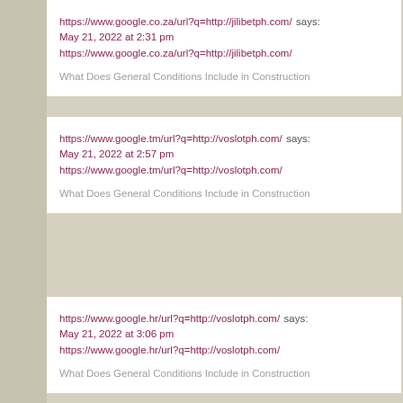https://www.google.co.za/url?q=http://jilibetph.com/ says:
May 21, 2022 at 2:31 pm
https://www.google.co.za/url?q=http://jilibetph.com/

What Does General Conditions Include in Construction
https://www.google.tm/url?q=http://voslotph.com/ says:
May 21, 2022 at 2:57 pm
https://www.google.tm/url?q=http://voslotph.com/

What Does General Conditions Include in Construction
https://www.google.hr/url?q=http://voslotph.com/ says:
May 21, 2022 at 3:06 pm
https://www.google.hr/url?q=http://voslotph.com/

What Does General Conditions Include in Construction